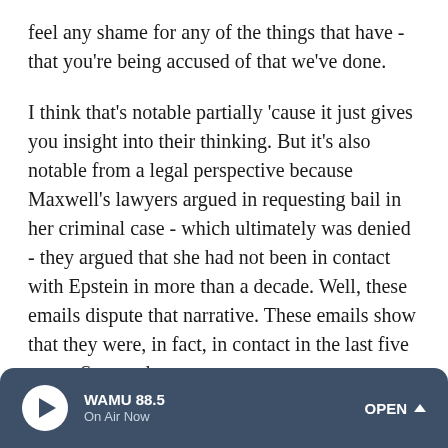feel any shame for any of the things that have - that you're being accused of that we've done.
I think that's notable partially 'cause it just gives you insight into their thinking. But it's also notable from a legal perspective because Maxwell's lawyers argued in requesting bail in her criminal case - which ultimately was denied - they argued that she had not been in contact with Epstein in more than a decade. Well, these emails dispute that narrative. These emails show that they were, in fact, in contact in the last five years. So - yeah.
MARTIN: Yeah. Well, I mean, what kind of impact is that going to have, then, against the case against her?
WAMU 88.5 On Air Now OPEN